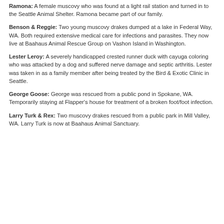Ramona: A female muscovy who was found at a light rail station and turned in to the Seattle Animal Shelter. Ramona became part of our family.
Benson & Reggie: Two young muscovy drakes dumped at a lake in Federal Way, WA. Both required extensive medical care for infections and parasites. They now live at Baahaus Animal Rescue Group on Vashon Island in Washington.
Lester Leroy: A severely handicapped crested runner duck with cayuga coloring who was attacked by a dog and suffered nerve damage and septic arthritis. Lester was taken in as a family member after being treated by the Bird & Exotic Clinic in Seattle.
George Goose: George was rescued from a public pond in Spokane, WA. Temporarily staying at Flapper's house for treatment of a broken foot/foot infection.
Larry Turk & Rex: Two muscovy drakes rescued from a public park in Mill Valley, WA. Larry Turk is now at Baahaus Animal Sanctuary.